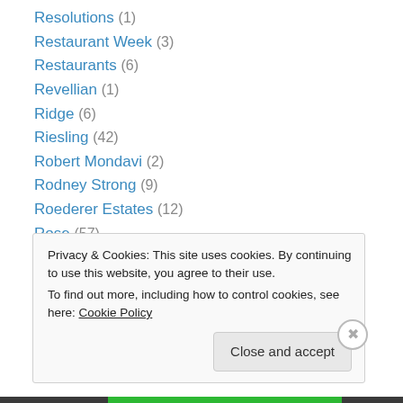Resolutions (1)
Restaurant Week (3)
Restaurants (6)
Revellian (1)
Ridge (6)
Riesling (42)
Robert Mondavi (2)
Rodney Strong (9)
Roederer Estates (12)
Rose (57)
Roshambo (10)
Roussanne (10)
Sancerre (2)
Privacy & Cookies: This site uses cookies. By continuing to use this website, you agree to their use. To find out more, including how to control cookies, see here: Cookie Policy